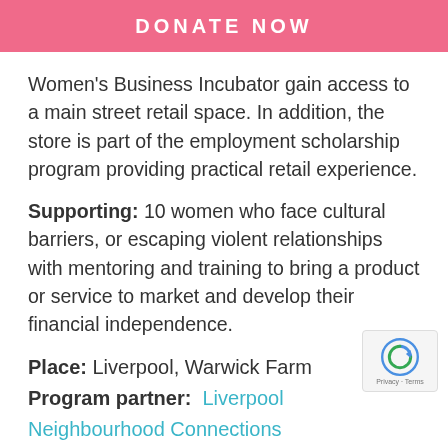DONATE NOW
Women's Business Incubator gain access to a main street retail space. In addition, the store is part of the employment scholarship program providing practical retail experience.
Supporting: 10 women who face cultural barriers, or escaping violent relationships with mentoring and training to bring a product or service to market and develop their financial independence.
Place: Liverpool, Warwick Farm
Program partner: Liverpool Neighbourhood Connections
Women in Business: Start-up